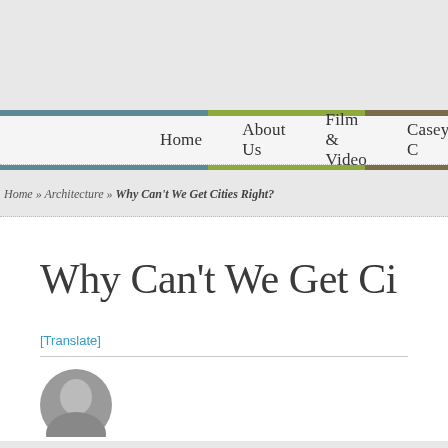Home   About Us   Film & Video   Casey C
Home » Architecture » Why Can't We Get Cities Right?
Why Can't We Get Ci
[Translate]